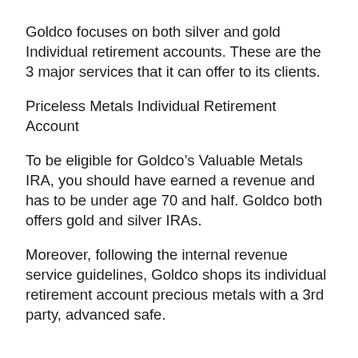Goldco focuses on both silver and gold Individual retirement accounts. These are the 3 major services that it can offer to its clients.
Priceless Metals Individual Retirement Account
To be eligible for Goldco’s Valuable Metals IRA, you should have earned a revenue and has to be under age 70 and half. Goldco both offers gold and silver IRAs.
Moreover, following the internal revenue service guidelines, Goldco shops its individual retirement account precious metals with a 3rd party, advanced safe.